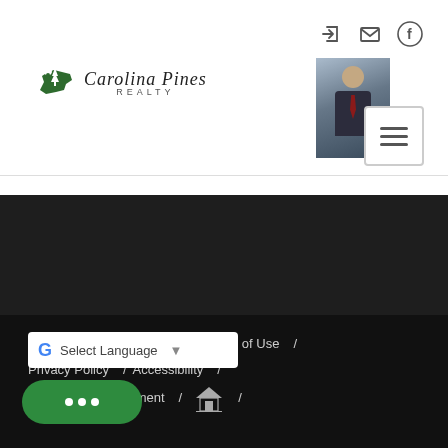[Figure (logo): Carolina Pines Realty logo with South Carolina state silhouette and agent photo]
which appear for sale on this web site may subsequently have sold and may no longer be available. September 5, 2022 1:47 PM UTC
© 2022 Inside Real Estate / Terms of Use / Privacy Policy / Accessibility / Fair Housing Statement / [Equal Housing Opportunity logo]
[Figure (other): Google Translate Select Language widget]
[Figure (other): Green chat button with three dots]